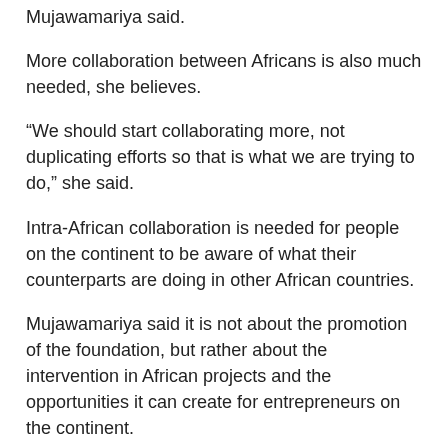Mujawamariya said.
More collaboration between Africans is also much needed, she believes.
“We should start collaborating more, not duplicating efforts so that is what we are trying to do,” she said.
Intra-African collaboration is needed for people on the continent to be aware of what their counterparts are doing in other African countries.
Mujawamariya said it is not about the promotion of the foundation, but rather about the intervention in African projects and the opportunities it can create for entrepreneurs on the continent.
The next round for the African Innovation Prize to be awarded in 2014 closes on October 31, 2013.
Posted in:  Uncategorized